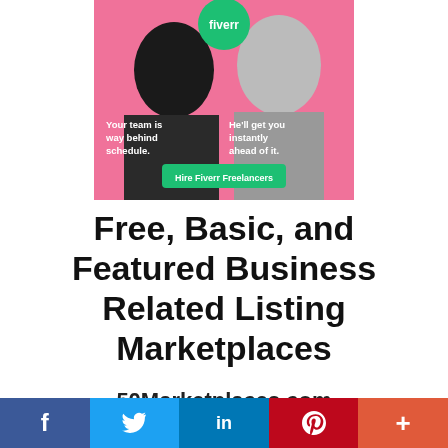[Figure (illustration): Fiverr advertisement banner showing a woman and a man back-to-back on a pink background. Text reads 'Your team is way behind schedule.' and 'He'll get you instantly ahead of it.' with a green 'Hire Fiverr Freelancers' button. Fiverr logo in green circle at top.]
Free, Basic, and Featured Business Related Listing Marketplaces
50Marketplaces.com
[Figure (infographic): Social sharing bar with Facebook (f), Twitter (bird icon), LinkedIn (in), Pinterest (P), and More (+) buttons in respective brand colors.]